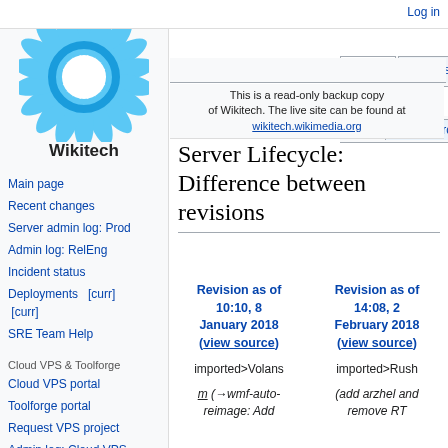[Figure (logo): Wikitech logo — blue sunflower/gear circular logo with 'Wikitech' text below]
Log in
Page | Discussion | Read | View source | More | Search
This is a read-only backup copy of Wikitech. The live site can be found at wikitech.wikimedia.org
Server Lifecycle: Difference between revisions
Main page
Recent changes
Server admin log: Prod
Admin log: RelEng
Incident status
Deployments   [curr] [curr]
SRE Team Help
Cloud VPS & Toolforge
Cloud VPS portal
Toolforge portal
Request VPS project
Admin log: Cloud VPS
| Revision as of 10:10, 8 January 2018 (view source) | Revision as of 14:08, 2 February 2018 (view source) |
| --- | --- |
| imported>Volans | imported>Rush |
| m (→wmf-auto-reimage: Add | (add arzhel and remove RT |